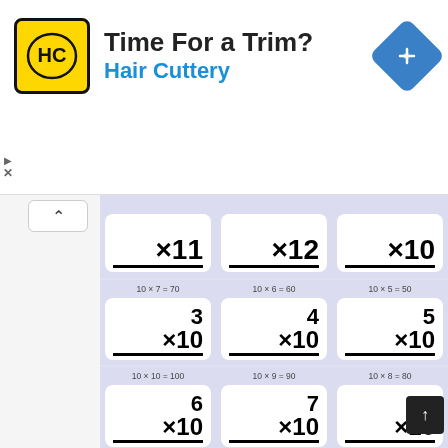[Figure (illustration): Hair Cuttery advertisement banner with logo, 'Time For a Trim?' headline, and navigation icon]
[Figure (infographic): Multiplication flash cards grid showing ×11, ×12, ×10 in top row; 3×10=30, 4×10=40, 5×10=50 in middle row with answers 10×7=70, 10×6=60, 10×5=50; 6×10, 7×10, 8×10 in bottom row with answers 10×10=100, 10×9=90, 10×8=80]